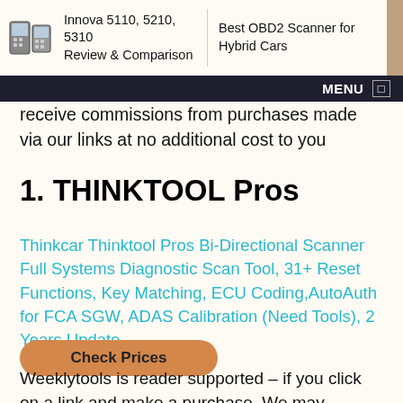Innova 5110, 5210, 5310 Review & Comparison | Best OBD2 Scanner for Hybrid Cars | MENU
receive commissions from purchases made via our links at no additional cost to you
1. THINKTOOL Pros
Thinkcar Thinktool Pros Bi-Directional Scanner Full Systems Diagnostic Scan Tool, 31+ Reset Functions, Key Matching, ECU Coding,AutoAuth for FCA SGW, ADAS Calibration (Need Tools), 2 Years Update
Check Prices
Weeklytools is reader supported – if you click on a link and make a purchase, We may